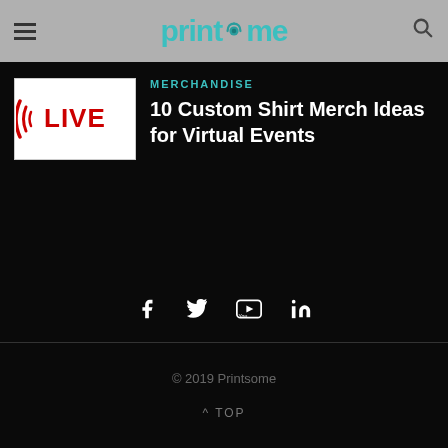printsome
MERCHANDISE
10 Custom Shirt Merch Ideas for Virtual Events
[Figure (logo): LIVE logo with red radio wave graphics on white background]
f  Twitter  YouTube  in
© 2019 Printsome
^ TOP